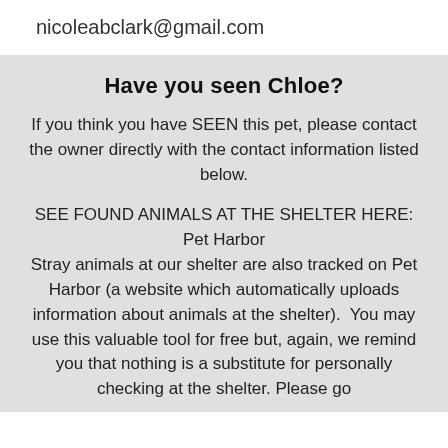nicoleabclark@gmail.com
Have you seen Chloe?
If you think you have SEEN this pet, please contact the owner directly with the contact information listed below.
SEE FOUND ANIMALS AT THE SHELTER HERE:
Pet Harbor
Stray animals at our shelter are also tracked on Pet Harbor (a website which automatically uploads information about animals at the shelter).  You may use this valuable tool for free but, again, we remind you that nothing is a substitute for personally checking at the shelter. Please go